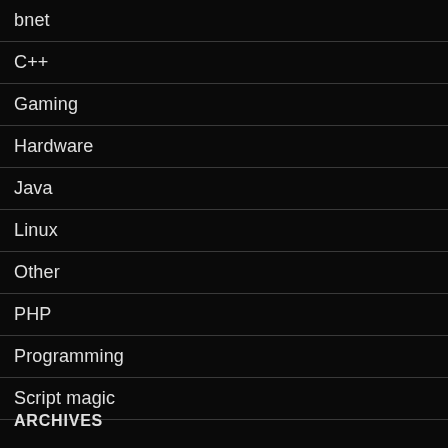bnet
C++
Gaming
Hardware
Java
Linux
Other
PHP
Programming
Script magic
ARCHIVES